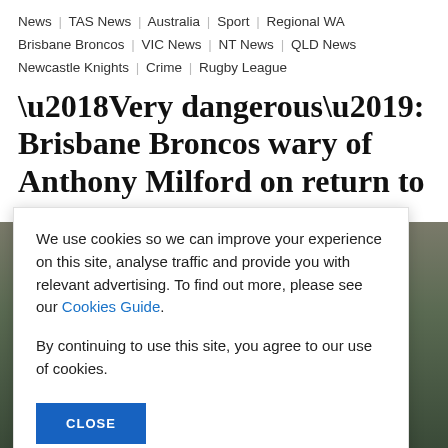News | TAS News | Australia | Sport | Regional WA | Brisbane Broncos | VIC News | NT News | QLD News | Newcastle Knights | Crime | Rugby League
‘Very dangerous’: Brisbane Broncos wary of Anthony Milford on return to NRL
[Figure (photo): Partially visible sports photo of a player in red jersey on a green field, mostly obscured by cookie consent overlay]
We use cookies so we can improve your experience on this site, analyse traffic and provide you with relevant advertising. To find out more, please see our Cookies Guide.

By continuing to use this site, you agree to our use of cookies.